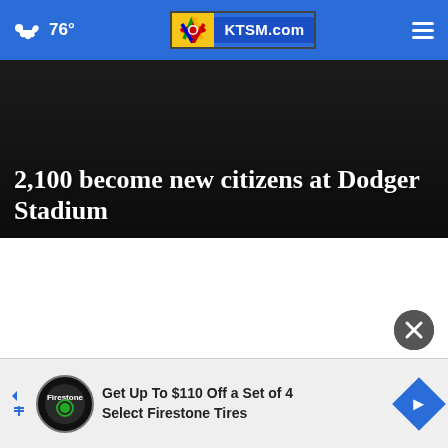76° KTSM.com
2,100 become new citizens at Dodger Stadium
[Figure (screenshot): Close button (X) circle on white background]
Get Up To $110 Off a Set of 4 Select Firestone Tires